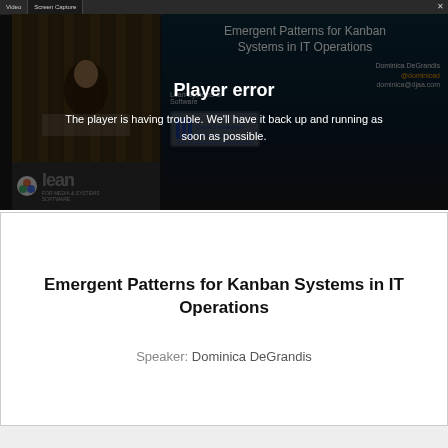[Figure (screenshot): Video player showing a webinar titled 'Emergent Patterns for Kanban Systems in IT Operations' with a player error overlay. Left panel shows a video thumbnail of a speaker. Right panel shows a slide with title, speaker name, emails, and company logos. A 'Player error' message overlays the content with text: 'The player is having trouble. We'll have it back up and running as soon as possible.']
Emergent Patterns for Kanban Systems in IT Operations
Speaker: Dominica DeGrandis